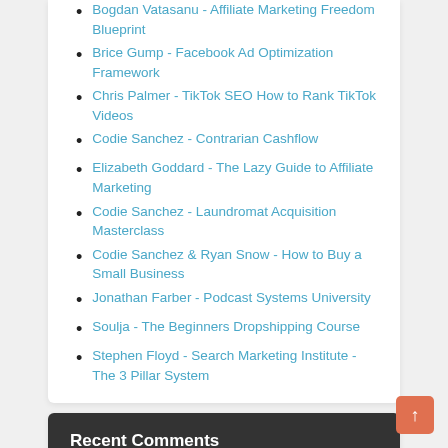Bogdan Vatasanu - Affiliate Marketing Freedom Blueprint
Brice Gump - Facebook Ad Optimization Framework
Chris Palmer - TikTok SEO How to Rank TikTok Videos
Codie Sanchez - Contrarian Cashflow
Elizabeth Goddard - The Lazy Guide to Affiliate Marketing
Codie Sanchez - Laundromat Acquisition Masterclass
Codie Sanchez & Ryan Snow - How to Buy a Small Business
Jonathan Farber - Podcast Systems University
Soulja - The Beginners Dropshipping Course
Stephen Floyd - Search Marketing Institute - The 3 Pillar System
Recent Comments
toba on Andrew Fox & Peter Parks - DNA Wealth Blueprint v3.0